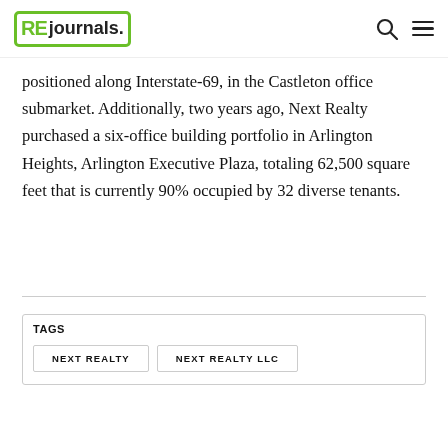RE journals
positioned along Interstate-69, in the Castleton office submarket. Additionally, two years ago, Next Realty purchased a six-office building portfolio in Arlington Heights, Arlington Executive Plaza, totaling 62,500 square feet that is currently 90% occupied by 32 diverse tenants.
TAGS
NEXT REALTY
NEXT REALTY LLC